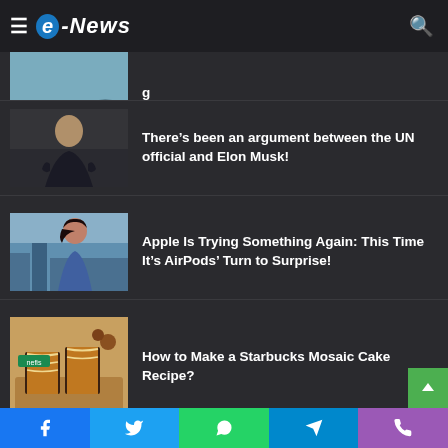e-News
[Figure (photo): Partial image of a dolphin swimming in water, partially cropped at top]
g
[Figure (photo): Photo of Elon Musk in a suit with arms crossed]
There's been an argument between the UN official and Elon Musk!
[Figure (photo): Photo of a woman with AirPods running outdoors]
Apple Is Trying Something Again: This Time It's AirPods' Turn to Surprise!
[Figure (photo): Photo of a Starbucks Mosaic Cake sliced on a wooden board, with 'nefis' watermark]
How to Make a Starbucks Mosaic Cake Recipe?
Facebook Twitter WhatsApp Telegram Phone